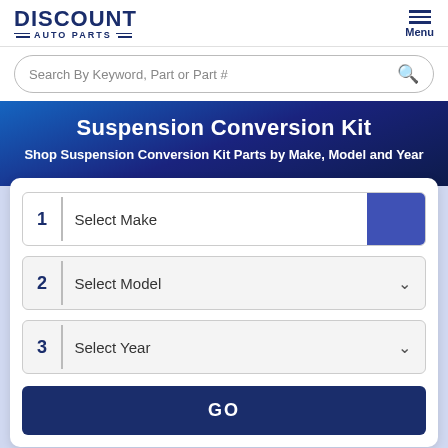DISCOUNT AUTO PARTS — Menu
Search By Keyword, Part or Part #
Suspension Conversion Kit
Shop Suspension Conversion Kit Parts by Make, Model and Year
1 Select Make
2 Select Model
3 Select Year
GO